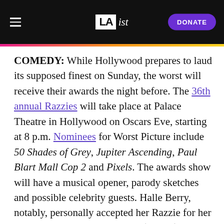LAist — DONATE
COMEDY: While Hollywood prepares to laud its supposed finest on Sunday, the worst will receive their awards the night before. The 36th annual Razzies will take place at Palace Theatre in Hollywood on Oscars Eve, starting at 8 p.m. Nominees for Worst Picture include 50 Shades of Grey, Jupiter Ascending, Paul Blart Mall Cop 2 and Pixels. The awards show will have a musical opener, parody sketches and possible celebrity guests. Halle Berry, notably, personally accepted her Razzie for her role in Catwoman. Tickets are $14 to $38.